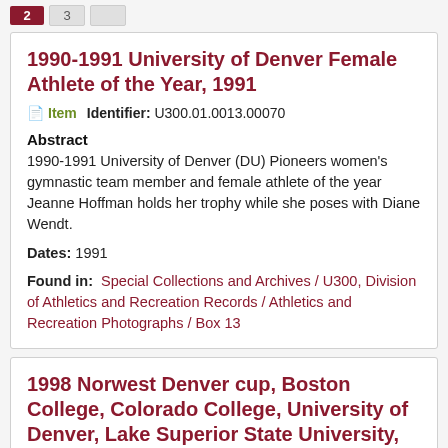2 | 3
1990-1991 University of Denver Female Athlete of the Year, 1991
Item   Identifier: U300.01.0013.00070
Abstract
1990-1991 University of Denver (DU) Pioneers women's gymnastic team member and female athlete of the year Jeanne Hoffman holds her trophy while she poses with Diane Wendt.
Dates: 1991
Found in:   Special Collections and Archives / U300, Division of Athletics and Recreation Records / Athletics and Recreation Photographs / Box 13
1998 Norwest Denver cup, Boston College, Colorado College, University of Denver, Lake Superior State University, December 27-28, McNichols Sports